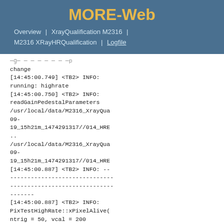MORE-Web
Overview | XrayQualification M2316 | M2316 XRayHRQualification | Logfile
change
[14:45:00.749] <TB2> INFO: running: highrate
[14:45:00.750] <TB2> INFO: readGainPedestalParameters /usr/local/data/M2316_XrayQua 09-19_15h21m_1474291317//014_HRE .. /usr/local/data/M2316_XrayQua 09-19_15h21m_1474291317//014_HRE
[14:45:00.887] <TB2> INFO: --------------------------------------------------------------------------------------------------------------------------------
[14:45:00.887] <TB2> INFO: PixTestHighRate::xPixelAlive( ntrig = 50, vcal = 200
[14:45:00.887] <TB2> INFO: --------------------------------------------------------------------------------------------------------------------------------
[14:45:01.373] <TB2> INFO: Expecting 208000 events.